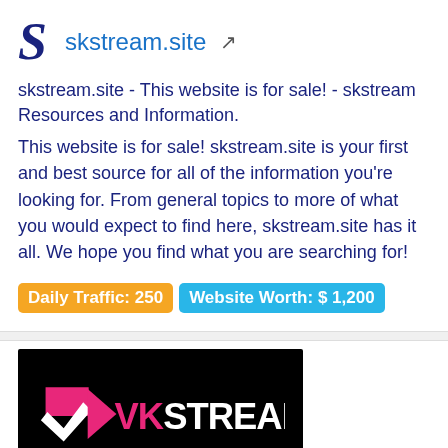[Figure (logo): Blue S logo followed by skstream.site text and external link icon]
skstream.site - This website is for sale! - skstream Resources and Information.
This website is for sale! skstream.site is your first and best source for all of the information you're looking for. From general topics to more of what you would expect to find here, skstream.site has it all. We hope you find what you are searching for!
Daily Traffic: 250   Website Worth: $ 1,200
[Figure (screenshot): VKStream website screenshot on black background showing pink and white VK chevron logo with VKSTREAM text, VkStream label, ACCUEIL and SERIES menu items]